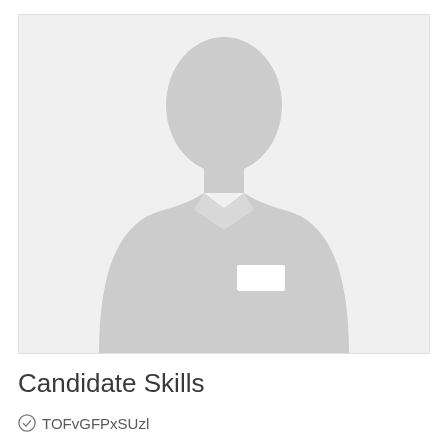[Figure (photo): Placeholder profile photo with a grey silhouette of a person in a business suit on a light grey background]
Candidate Skills
TOFvGFPxSUzl